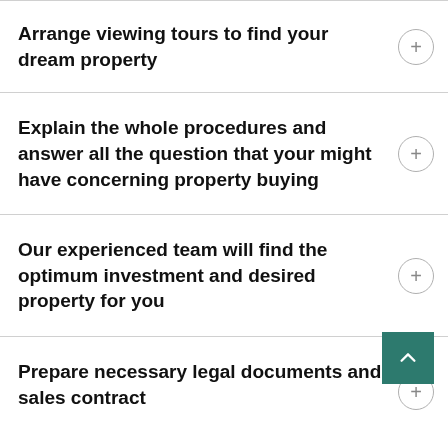Arrange viewing tours to find your dream property
Explain the whole procedures and answer all the question that your might have concerning property buying
Our experienced team will find the optimum investment and desired property for you
Prepare necessary legal documents and sales contract